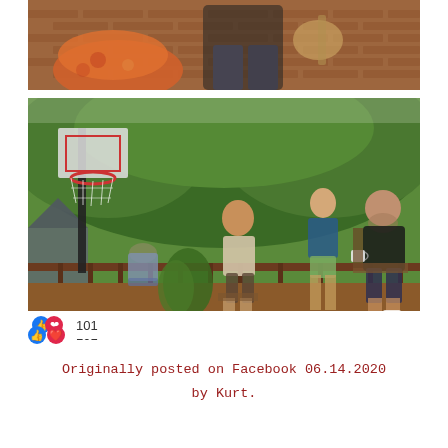[Figure (photo): Top photo: Person sitting on a chair playing banjo/guitar on a porch with brick wall background and orange floral furniture. Bottom photo: Four people (a child sitting on the ground, a teenager sitting on a chair, a young woman standing, and an older man sitting in a chair holding a mug) on a wooden deck surrounded by lush green trees and a basketball hoop.]
101 (likes/reactions)
Originally posted on Facebook 06.14.2020 by Kurt.